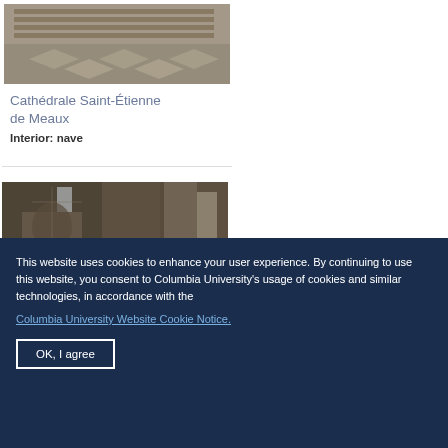[Figure (photo): Interior view of cathedral nave with wooden chairs arranged in rows on a checkered stone floor, viewed from above]
Cathédrale Saint-Étienne de Meaux
Interior: nave
[Figure (photo): Interior of a Gothic cathedral showing tall stone columns, ornate stonework and Gothic windows with light streaming in]
This website uses cookies to enhance your user experience. By continuing to use this website, you consent to Columbia University's usage of cookies and similar technologies, in accordance with the Columbia University Website Cookie Notice.
OK, I agree